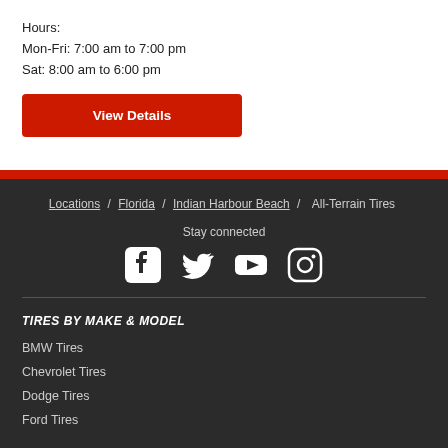Hours:
Mon-Fri: 7:00 am to 7:00 pm
Sat: 8:00 am to 6:00 pm
View Details
Locations / Florida / Indian Harbour Beach / All-Terrain Tires
Stay connected
[Figure (infographic): Social media icons: Facebook, Twitter, YouTube, Instagram]
TIRES BY MAKE & MODEL
BMW Tires
Chevrolet Tires
Dodge Tires
Ford Tires